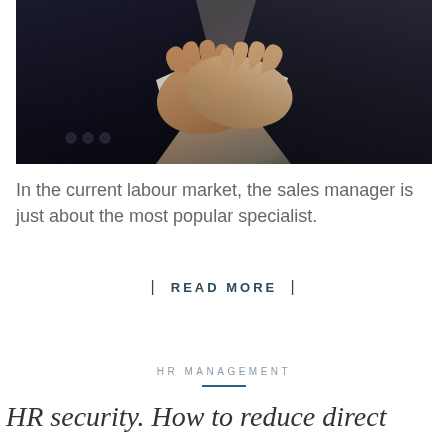[Figure (photo): Two people in dark pinstripe suits shaking hands against a light grey background, showing a business handshake closeup.]
In the current labour market, the sales manager is just about the most popular specialist.
| READ MORE |
HR MANAGEMENT
HR security. How to reduce direct